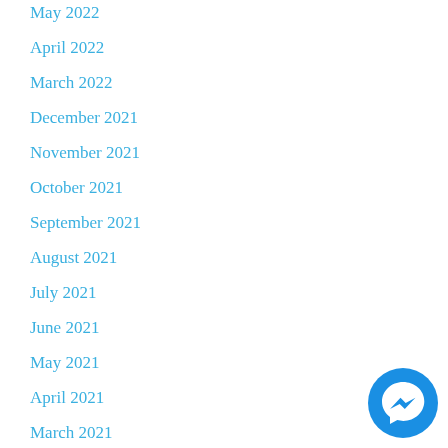May 2022
April 2022
March 2022
December 2021
November 2021
October 2021
September 2021
August 2021
July 2021
June 2021
May 2021
April 2021
March 2021
November 2020
[Figure (illustration): Facebook Messenger chat button icon, circular blue button with white lightning bolt/messenger symbol]